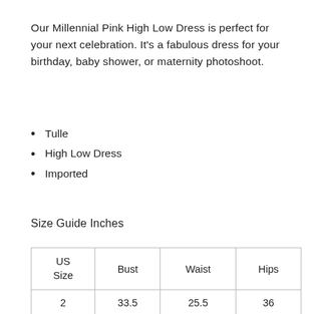Our Millennial Pink High Low Dress is perfect for your next celebration. It's a fabulous dress for your birthday, baby shower, or maternity photoshoot.
Tulle
High Low Dress
Imported
Size Guide Inches
| US Size | Bust | Waist | Hips |
| --- | --- | --- | --- |
| 2 | 33.5 | 25.5 | 36 |
| 4 | 34 | 26 | 37 |